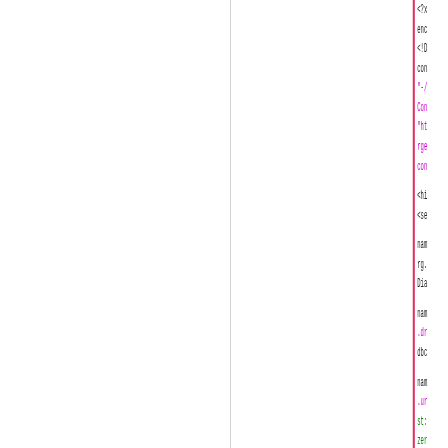<?x
encoding
<!DOCTYPE
content
"-//
Content
"ht
rge
content

<hi
<se

name
rg.
Dia

name
.dr
dbc

name
.ur
st:
zer
rtT

name
.us